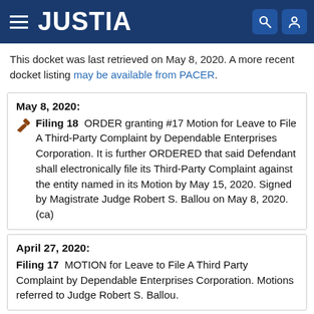[Figure (logo): Justia website header with hamburger menu, JUSTIA logo in white on dark blue background, and search/user icons]
This docket was last retrieved on May 8, 2020. A more recent docket listing may be available from PACER.
May 8, 2020:
🔨 Filing 18  ORDER granting #17 Motion for Leave to File A Third-Party Complaint by Dependable Enterprises Corporation. It is further ORDERED that said Defendant shall electronically file its Third-Party Complaint against the entity named in its Motion by May 15, 2020. Signed by Magistrate Judge Robert S. Ballou on May 8, 2020. (ca)
April 27, 2020:
Filing 17  MOTION for Leave to File A Third Party Complaint by Dependable Enterprises Corporation. Motions referred to Judge Robert S. Ballou.